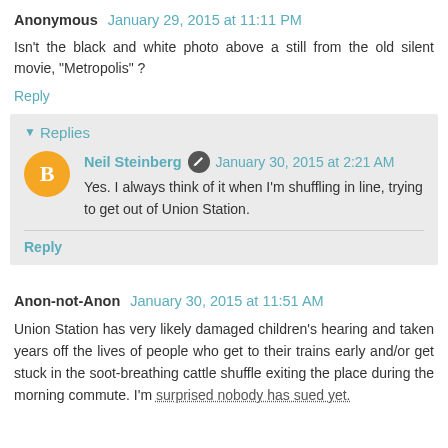Anonymous  January 29, 2015 at 11:11 PM
Isn't the black and white photo above a still from the old silent movie, "Metropolis" ?
Reply
Replies
Neil Steinberg  January 30, 2015 at 2:21 AM
Yes. I always think of it when I'm shuffling in line, trying to get out of Union Station.
Reply
Anon-not-Anon  January 30, 2015 at 11:51 AM
Union Station has very likely damaged children's hearing and taken years off the lives of people who get to their trains early and/or get stuck in the soot-breathing cattle shuffle exiting the place during the morning commute. I'm surprised nobody has sued yet.